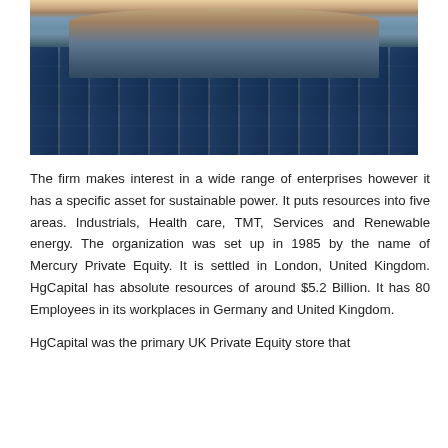[Figure (photo): Photograph of a large solar panel farm with wind turbines in the background, mountains visible on the horizon at dusk/dawn with warm sky colors]
The firm makes interest in a wide range of enterprises however it has a specific asset for sustainable power. It puts resources into five areas. Industrials, Health care, TMT, Services and Renewable energy. The organization was set up in 1985 by the name of Mercury Private Equity. It is settled in London, United Kingdom. HgCapital has absolute resources of around $5.2 Billion. It has 80 Employees in its workplaces in Germany and United Kingdom.
HgCapital was the primary UK Private Equity store that ...